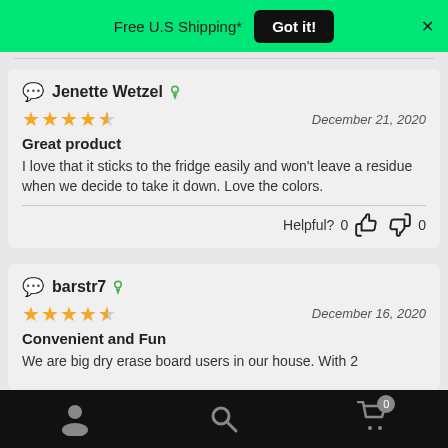Free U.S Shipping*  Got it!
Jenette Wetzel
December 21, 2020
Great product
I love that it sticks to the fridge easily and won't leave a residue when we decide to take it down. Love the colors.
Helpful? 0 👍 👎 0
barstr7
December 16, 2020
Convenient and Fun
We are big dry erase board users in our house. With 2
Navigation bar with user, search, cart icons